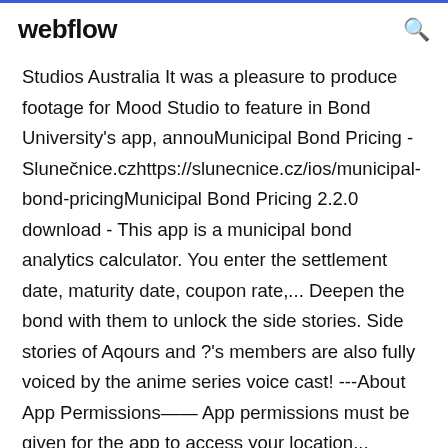webflow
Studios Australia It was a pleasure to produce footage for Mood Studio to feature in Bond University's app, annouMunicipal Bond Pricing - Slunečnice.czhttps://slunecnice.cz/ios/municipal-bond-pricingMunicipal Bond Pricing 2.2.0 download - This app is a municipal bond analytics calculator. You enter the settlement date, maturity date, coupon rate,... Deepen the bond with them to unlock the side stories. Side stories of Aqours and ?'s members are also fully voiced by the anime series voice cast! ---About App Permissions—— App permissions must be given for the app to access your location... Discover new experiences on your own or find